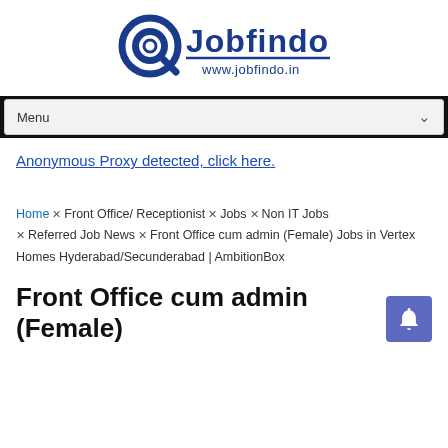[Figure (logo): Jobfindo logo with magnifying glass icon and text 'Jobfindo www.jobfindo.in' in blue]
Menu
Anonymous Proxy detected, click here.
Home × Front Office/ Receptionist × Jobs × Non IT Jobs × Referred Job News × Front Office cum admin (Female) Jobs in Vertex Homes Hyderabad/Secunderabad | AmbitionBox
Front Office cum admin (Female)